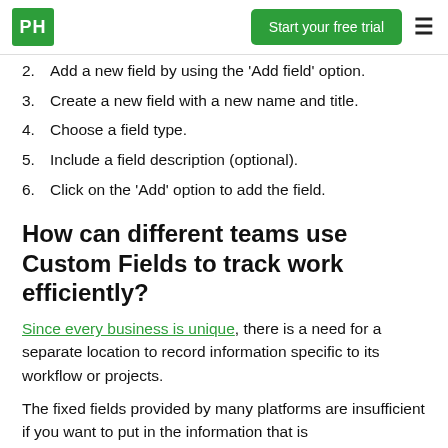PH | Start your free trial
2. Add a new field by using the 'Add field' option.
3. Create a new field with a new name and title.
4. Choose a field type.
5. Include a field description (optional).
6. Click on the 'Add' option to add the field.
How can different teams use Custom Fields to track work efficiently?
Since every business is unique, there is a need for a separate location to record information specific to its workflow or projects.
The fixed fields provided by many platforms are insufficient if you want to put in the information that is